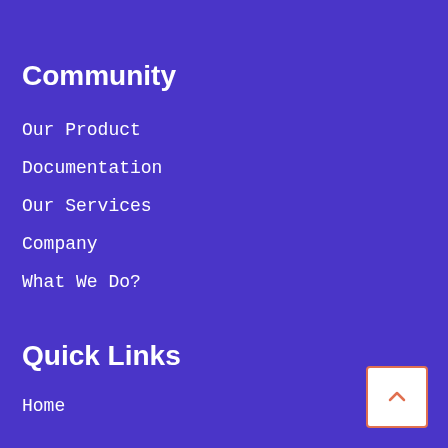Community
Our Product
Documentation
Our Services
Company
What We Do?
Quick Links
Home
About Us
Main Services
Pricing